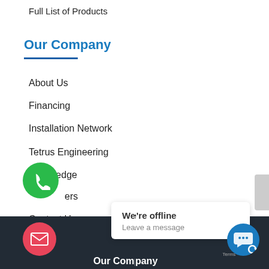Full List of Products
Our Company
About Us
Financing
Installation Network
Tetrus Engineering
Our Pledge
ers
Contact Us
[Figure (infographic): Green circular button with phone/call icon]
[Figure (infographic): Gray sidebar button partially visible on right edge]
Our Company
[Figure (infographic): Pink/red circular button with envelope/mail icon]
We're offline
Leave a message
[Figure (infographic): Blue circular chat button with speech bubble icon, 'Terms' label]